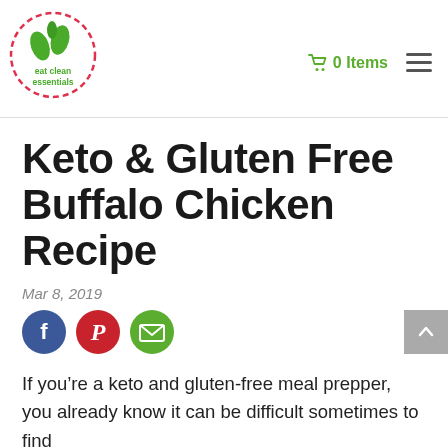[Figure (logo): Eat Clean Essentials logo — circular badge with green leaves and red/pink circle outline, text 'eat clean essentials' in green below]
0 Items  ☰
Keto & Gluten Free Buffalo Chicken Recipe
Mar 8, 2019
[Figure (infographic): Three social sharing icons: Facebook (blue circle with f), Pinterest (red circle with P), Email (green circle with envelope)]
If you're a keto and gluten-free meal prepper, you already know it can be difficult sometimes to find